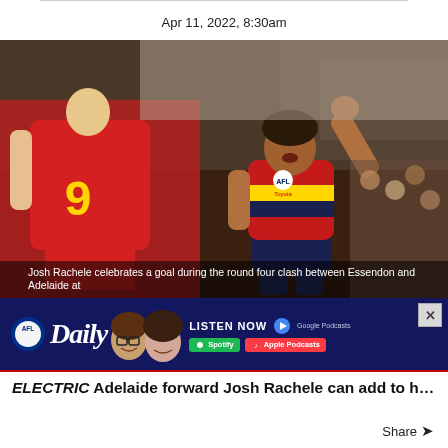Apr 11, 2022, 8:30am
[Figure (photo): AFL player Josh Rachele in Adelaide Crows red, blue and yellow uniform celebrates a goal with fist raised, while a Gold Coast Suns player with number 9 on jersey stands in foreground. Stadium crowd visible in background.]
Josh Rachele celebrates a goal during the round four clash between Essendon and Adelaide at
[Figure (other): AFL Daily podcast advertisement banner with dark blue background, AFL Daily logo, two podcast host faces, LISTEN NOW text, and Google Podcasts, Spotify, and Apple Podcasts buttons. Close button (X) in top right corner.]
ELECTRIC Adelaide forward Josh Rachele can add to his pile
Share